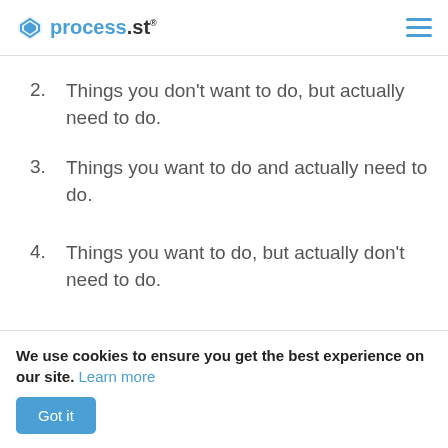process.st
2. Things you don't want to do, but actually need to do.
3. Things you want to do and actually need to do.
4. Things you want to do, but actually don't need to do.
The logic is, that if you don't want to do a task, it's probably because it's hard. You know it's important but you're procrastinating. Get the
We use cookies to ensure you get the best experience on our site. Learn more